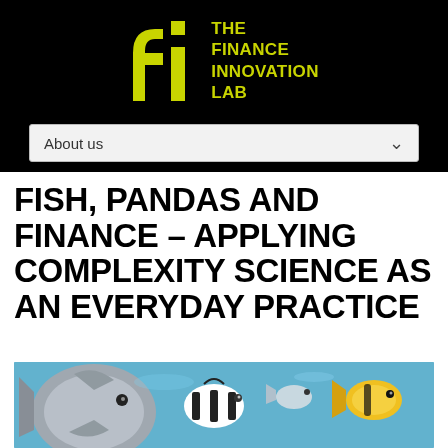[Figure (logo): The Finance Innovation Lab logo — stylized 'fi' letterform in yellow-green on black background, with text 'THE FINANCE INNOVATION LAB' in yellow-green uppercase]
About us
FISH, PANDAS AND FINANCE – APPLYING COMPLEXITY SCIENCE AS AN EVERYDAY PRACTICE
[Figure (photo): Underwater photograph showing a school of tropical fish including large grey angelfish, black and white striped fish, and yellow fish against a blue water background]